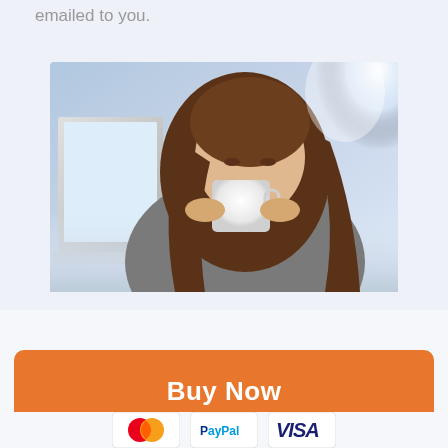emailed to you.
[Figure (photo): A young woman with long brown hair sitting at a desk with a laptop, holding a white mug with both hands and looking down at it, in a bright office environment.]
Buy Now
[Figure (logo): Payment method icons: MasterCard, PayPal, and Visa logos displayed in white bordered boxes.]